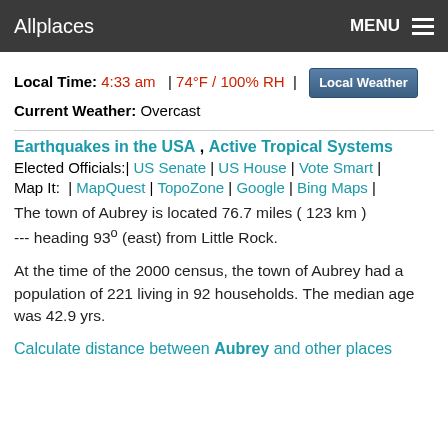Allplaces   MENU
Local Time: 4:33 am  | 74°F / 100% RH  |  Local Weather
Current Weather: Overcast
Earthquakes in the USA , Active Tropical Systems
Elected Officials:| US Senate | US House | Vote Smart |
Map It:  | MapQuest | TopoZone | Google | Bing Maps |
The town of Aubrey is located 76.7 miles ( 123 km )
--- heading 93° (east) from Little Rock.
At the time of the 2000 census, the town of Aubrey had a population of 221 living in 92 households. The median age was 42.9 yrs.
Calculate distance between Aubrey and other places